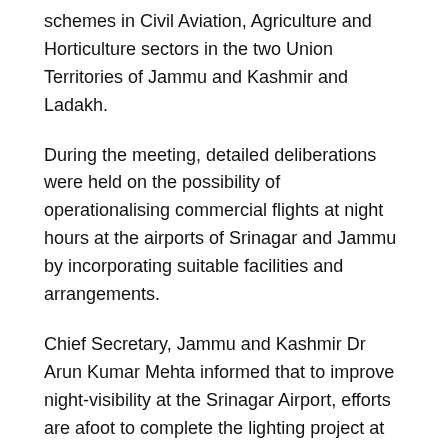schemes in Civil Aviation, Agriculture and Horticulture sectors in the two Union Territories of Jammu and Kashmir and Ladakh.
During the meeting, detailed deliberations were held on the possibility of operationalising commercial flights at night hours at the airports of Srinagar and Jammu by incorporating suitable facilities and arrangements.
Chief Secretary, Jammu and Kashmir Dr Arun Kumar Mehta informed that to improve night-visibility at the Srinagar Airport, efforts are afoot to complete the lighting project at the earliest which would facilitate flights during low visibility round-the-year through concerted coordination with Indian Air Force.
"Similarly, the ongoing air-strip repair works at Jammu Airport will be completed this week followed by installation